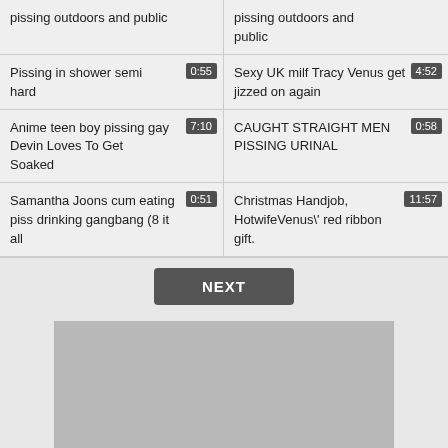pissing outdoors and public
Pissing in shower semi hard 0:55
Sexy UK milf Tracy Venus get jizzed on again 4:52
Anime teen boy pissing gay Devin Loves To Get Soaked 7:10
CAUGHT STRAIGHT MEN PISSING URINAL 0:58
Samantha Joons cum eating piss drinking gangbang (8 it all 0:51
Christmas Handjob, HotwifeVenus\' red ribbon gift. 11:57
NEXT
[Figure (other): Gray advertisement placeholder rectangle]